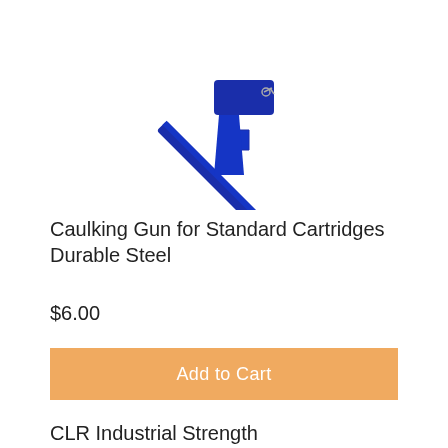[Figure (photo): Blue caulking gun shown at an angle against a white background, handle and trigger mechanism visible]
Caulking Gun for Standard Cartridges Durable Steel
$6.00
Add to Cart
CLR Industrial Strength Biodegradable Calcium Lime
$24.13